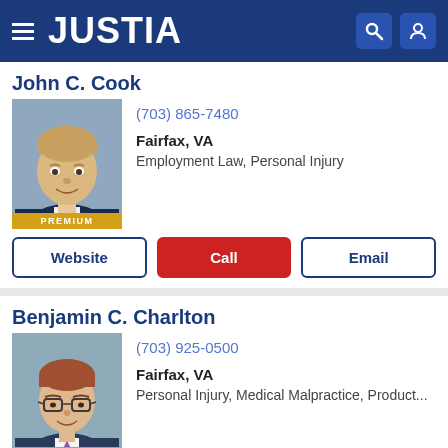JUSTIA
John C. Cook
[Figure (photo): Professional headshot of John C. Cook, middle-aged man in dark suit with tie, PREMIUM badge]
(703) 865-7480
Fairfax, VA
Employment Law, Personal Injury
Website
Call
Email
Benjamin C. Charlton
[Figure (photo): Professional headshot of Benjamin C. Charlton, young man with glasses, PREMIUM badge]
(703) 925-0500
Fairfax, VA
Personal Injury, Medical Malpractice, Product...
Website
Call
Email